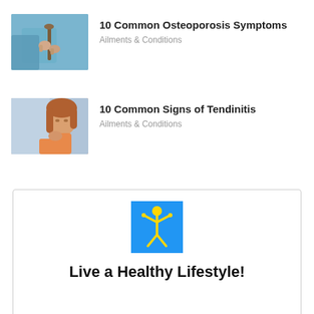[Figure (photo): Elderly person holding a wooden cane with both hands, wearing a blue sweater]
10 Common Osteoporosis Symptoms
Ailments & Conditions
[Figure (photo): Young woman with red/orange top sitting near a window with eyes closed, touching her neck]
10 Common Signs of Tendinitis
Ailments & Conditions
[Figure (illustration): Blue square with a yellow stick figure person raising arms overhead]
Live a Healthy Lifestyle!